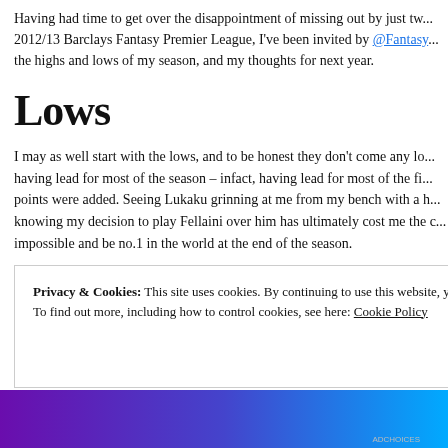Having had time to get over the disappointment of missing out by just tw... 2012/13 Barclays Fantasy Premier League, I've been invited by @Fantasy... the highs and lows of my season, and my thoughts for next year.
Lows
I may as well start with the lows, and to be honest they don't come any lo... having lead for most of the season – infact, having lead for most of the fi... points were added. Seeing Lukaku grinning at me from my bench with a h... knowing my decision to play Fellaini over him has ultimately cost me the c... impossible and be no.1 in the world at the end of the season.
Hindsight's a wonderful thing, who would have predicted West Brom sco... Lukaku hat trick?! But, the season is played over 38 gameweeks and the g...
Privacy & Cookies: This site uses cookies. By continuing to use this website, you agree to their use. To find out more, including how to control cookies, see here: Cookie Policy
Close and accept